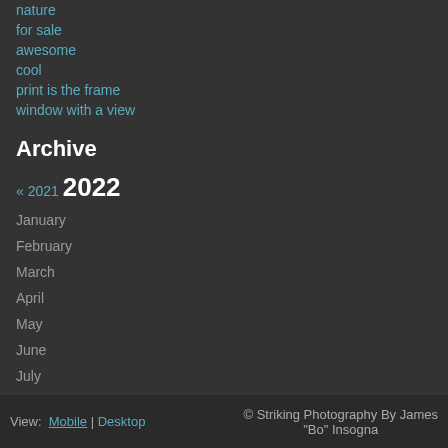nature
for sale
awesome
cool
print is the frame
window with a view
Archive
« 2021  2022
January
February
March
April
May
June
July
August
View: Mobile | Desktop   © Striking Photography By James "Bo" Insogna